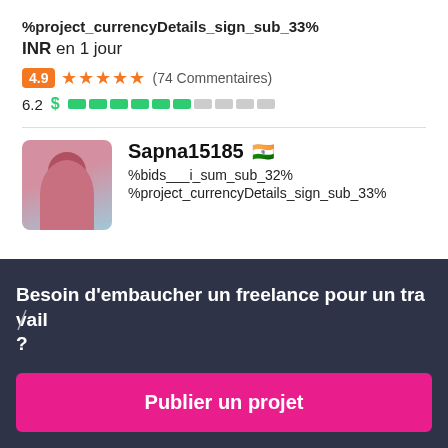%project_currencyDetails_sign_sub_33%
INR en 1 jour
4.9 ★★★★★ (74 Commentaires)
6.2 $ ██████░░░░
Sapna15185 🇮🇳
%bids___i_sum_sub_32%
%project_currencyDetails_sign_sub_33%
Besoin d'embaucher un freelance pour un travail ?
Publier un projet